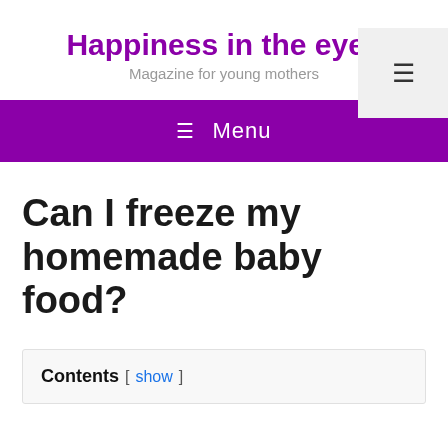Happiness in the eyes
Magazine for young mothers
≡ Menu
Can I freeze my homemade baby food?
Contents [ show ]